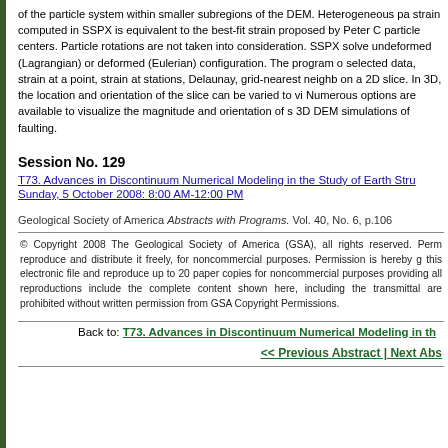of the particle system within smaller subregions of the DEM. Heterogeneous pa strain computed in SSPX is equivalent to the best-fit strain proposed by Peter C particle centers. Particle rotations are not taken into consideration. SSPX solve undeformed (Lagrangian) or deformed (Eulerian) configuration. The program o selected data, strain at a point, strain at stations, Delaunay, grid-nearest neighb on a 2D slice. In 3D, the location and orientation of the slice can be varied to vi Numerous options are available to visualize the magnitude and orientation of s 3D DEM simulations of faulting.
Session No. 129
T73. Advances in Discontinuum Numerical Modeling in the Study of Earth Stru Sunday, 5 October 2008: 8:00 AM-12:00 PM
Geological Society of America Abstracts with Programs. Vol. 40, No. 6, p.106
© Copyright 2008 The Geological Society of America (GSA), all rights reserved. Perm reproduce and distribute it freely, for noncommercial purposes. Permission is hereby g this electronic file and reproduce up to 20 paper copies for noncommercial purposes providing all reproductions include the complete content shown here, including the transmittal are prohibited without written permission from GSA Copyright Permissions.
Back to: T73. Advances in Discontinuum Numerical Modeling in th
<< Previous Abstract | Next Abs